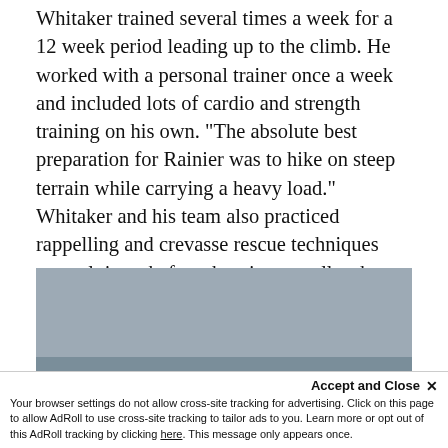Whitaker trained several times a week for a 12 week period leading up to the climb. He worked with a personal trainer once a week and included lots of cardio and strength training on his own. "The absolute best preparation for Rainier was to hike on steep terrain while carrying a heavy load." Whitaker and his team also practiced rappelling and crevasse rescue techniques several times before the trip, as well as knot tying.
[Figure (photo): A photograph, partially visible, showing an outdoor or mountainous scene. The image appears grey-blue in color suggesting sky or mountain terrain.]
Accept and Close ×
Your browser settings do not allow cross-site tracking for advertising. Click on this page to allow AdRoll to use cross-site tracking to tailor ads to you. Learn more or opt out of this AdRoll tracking by clicking here. This message only appears once.